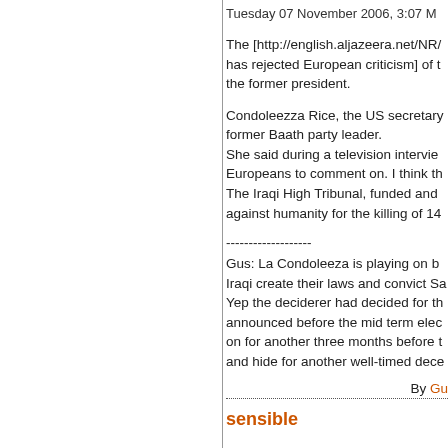Tuesday 07 November 2006, 3:07 M
The [http://english.aljazeera.net/NR/ has rejected European criticism] of t the former president.
Condoleezza Rice, the US secretary former Baath party leader.
She said during a television intervie Europeans to comment on. I think th The Iraqi High Tribunal, funded and against humanity for the killing of 14
-------------------
Gus: La Condoleeza is playing on b Iraqi create their laws and convict Sa Yep the deciderer had decided for th announced before the mid term elec on for another three months before t and hide for another well-timed dece
By Gu
sensible